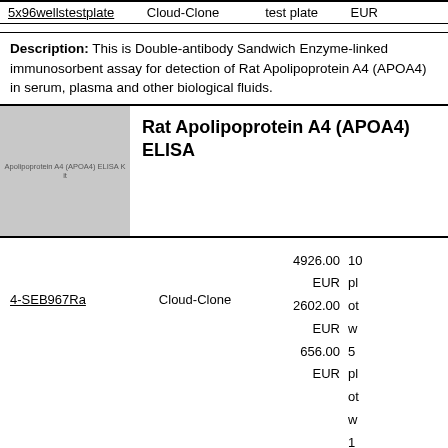| Product | Supplier | Price | Unit |
| --- | --- | --- | --- |
| 5x96wellstestplate | Cloud-Clone |  | test plate | EUR |
Description: This is Double-antibody Sandwich Enzyme-linked immunosorbent assay for detection of Rat Apolipoprotein A4 (APOA4) in serum, plasma and other biological fluids.
[Figure (photo): Product image placeholder for Rat Apolipoprotein A4 (APOA4) ELISA Kit with grey background]
Rat Apolipoprotein A4 (APOA4) ELISA
| Catalog No. | Supplier | Price | Notes |
| --- | --- | --- | --- |
| 4-SEB967Ra | Cloud-Clone | 4926.00 EUR
2602.00 EUR
656.00 EUR | 10 plates of others wells 5 plates of others wells 1 plate |